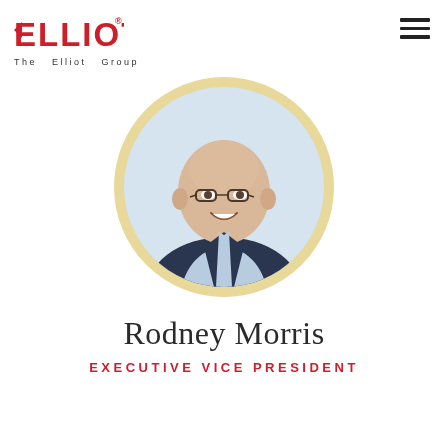[Figure (logo): ELLIOT – The Elliot Group logo in red, with registered trademark symbol]
[Figure (other): Hamburger menu icon (three horizontal lines)]
[Figure (photo): Circular portrait photo of Rodney Morris, a bald man wearing glasses and a dark suit with a light blue shirt, smiling, framed in a gold/tan circle border]
Rodney Morris
EXECUTIVE VICE PRESIDENT